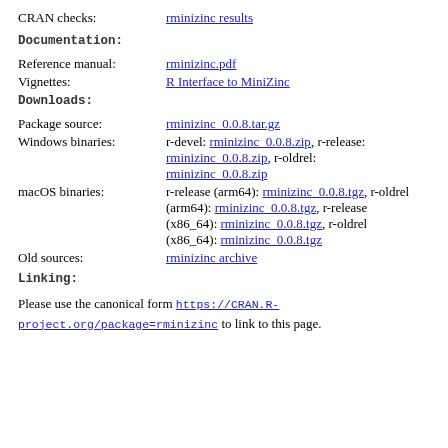CRAN checks: rminizinc results
Documentation:
Reference manual: rminizinc.pdf
Vignettes: R Interface to MiniZinc
Downloads:
Package source: rminizinc_0.0.8.tar.gz
Windows binaries: r-devel: rminizinc_0.0.8.zip, r-release: rminizinc_0.0.8.zip, r-oldrel: rminizinc_0.0.8.zip
macOS binaries: r-release (arm64): rminizinc_0.0.8.tgz, r-oldrel (arm64): rminizinc_0.0.8.tgz, r-release (x86_64): rminizinc_0.0.8.tgz, r-oldrel (x86_64): rminizinc_0.0.8.tgz
Old sources: rminizinc archive
Linking:
Please use the canonical form https://CRAN.R-project.org/package=rminizinc to link to this page.